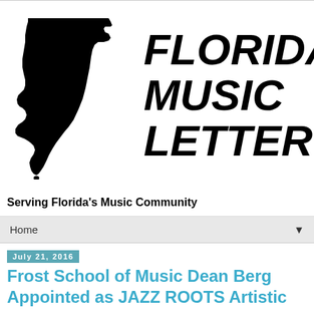[Figure (logo): Black silhouette of the state of Florida alongside bold italic text reading FLORIDA MUSIC LETTER]
Serving Florida's Music Community
Home ▼
July 21, 2016
Frost School of Music Dean Berg Appointed as JAZZ ROOTS Artistic